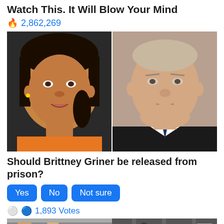Watch This. It Will Blow Your Mind
🔥 2,862,269
[Figure (photo): Side-by-side photos: left shows Brittney Griner (female basketball player), right shows Vladimir Putin (Russian president)]
Should Brittney Griner be released from prison?
Yes  No  Not sure
💬 1,893 Votes
[Figure (photo): Partial bottom image showing two scenes, left with a red circle overlay]